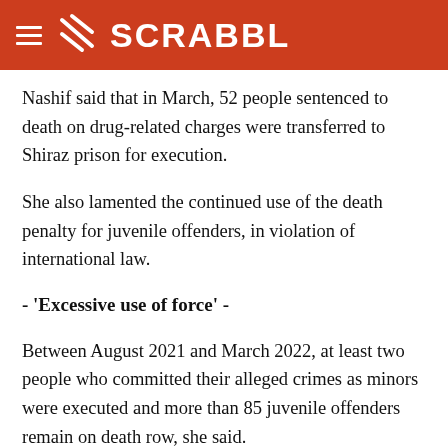SCRABBL
Nashif said that in March, 52 people sentenced to death on drug-related charges were transferred to Shiraz prison for execution.
She also lamented the continued use of the death penalty for juvenile offenders, in violation of international law.
- 'Excessive use of force' -
Between August 2021 and March 2022, at least two people who committed their alleged crimes as minors were executed and more than 85 juvenile offenders remain on death row, she said.